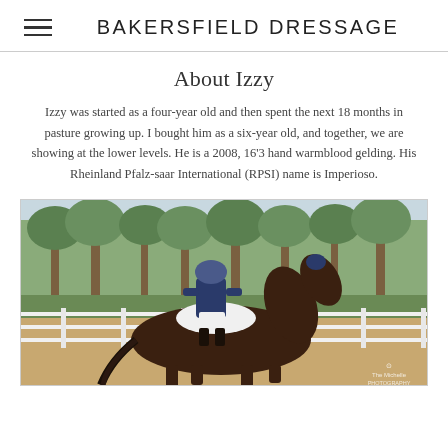BAKERSFIELD DRESSAGE
About Izzy
Izzy was started as a four-year old and then spent the next 18 months in pasture growing up. I bought him as a six-year old, and together, we are showing at the lower levels. He is a 2008, 16'3 hand warmblood gelding. His Rheinland Pfalz-saar International (RPSI) name is Imperioso.
[Figure (photo): A rider in a navy blue jacket and helmet riding a dark bay warmblood horse in a dressage arena with white fencing and trees in the background. The horse is wearing ear covers. Watermark reads 'The Michelle Photography'.]